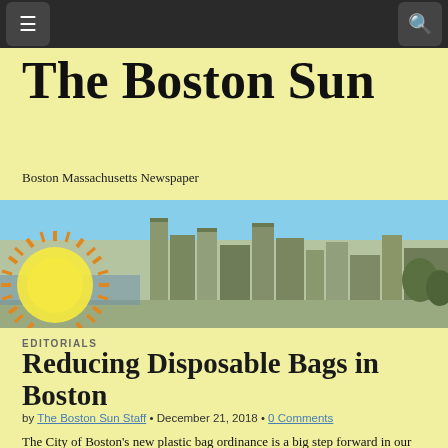The Boston Sun — navigation bar with menu and search buttons
The Boston Sun
Boston Massachusetts Newspaper
[Figure (photo): Aerial photograph of Boston cityscape with a Boston Sun logo sun graphic overlay on the left side showing orange/yellow rays]
EDITORIALS
Reducing Disposable Bags in Boston
by The Boston Sun Staff • December 21, 2018 • 0 Comments
The City of Boston's new plastic bag ordinance is a big step forward in our work to cut carbon emissions, reduce pollution, and create a cleaner, greener city. When the new ordinance goes into effect on Dec. 14, 2018, stores in Boston will no longer provide